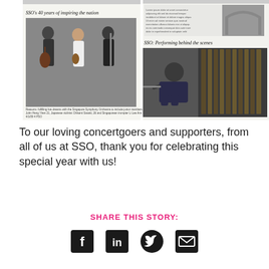[Figure (photo): Collage of two newspaper clippings: left shows 'SSO's 40 years of inspiring the nation' with photo of three young musicians (cello, violin, clarinet); right shows 'SSO: Performing behind the scenes' with a photo of a man seated near an organ pipe.]
To our loving concertgoers and supporters, from all of us at SSO, thank you for celebrating this special year with us!
SHARE THIS STORY:
[Figure (illustration): Social media share icons: Facebook, LinkedIn, Twitter, Email]